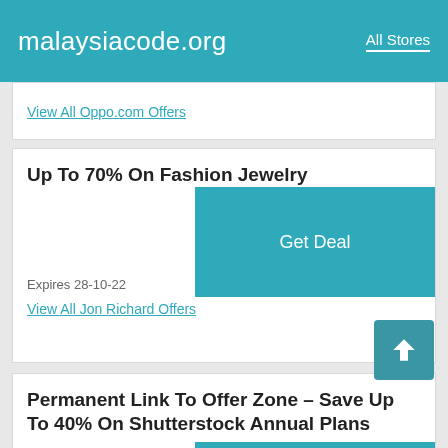malaysiacode.org   All Stores
View All Oppo.com Offers
Up To 70% On Fashion Jewelry
Expires 28-10-22
View All Jon Richard Offers
Permanent Link To Offer Zone – Save Up To 40% On Shutterstock Annual Plans
Expires 28-11-22
View All Shutterstock Offers